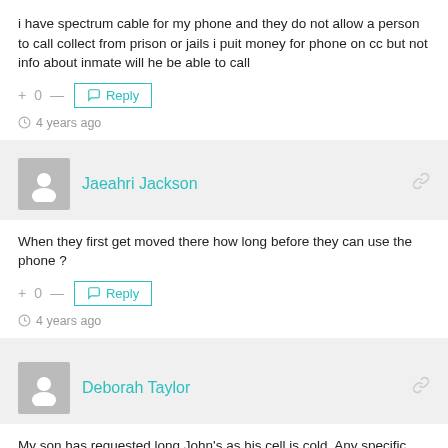i have spectrum cable for my phone and they do not allow a person to call collect from prison or jails i puit money for phone on cc but not info about inmate will he be able to call
+ 0 — Reply
4 years ago
Jaeahri Jackson
When they first get moved there how long before they can use the phone ?
+ 0 — Reply
4 years ago
Deborah Taylor
My son has requested long John's as his cell is cold. Any specific color not allowed?